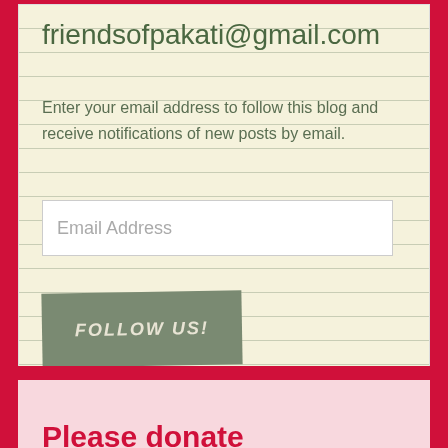friendsofpakati@gmail.com
Enter your email address to follow this blog and receive notifications of new posts by email.
Email Address
FOLLOW US!
Join 805 other subscribers
Please donate